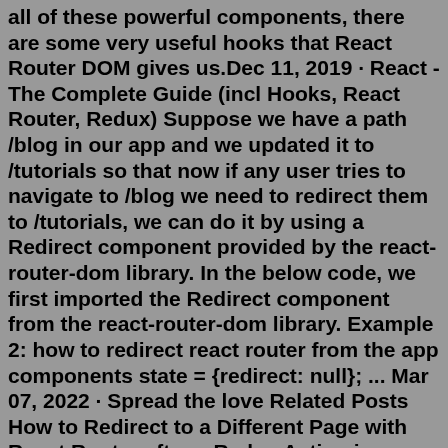all of these powerful components, there are some very useful hooks that React Router DOM gives us.Dec 11, 2019 · React - The Complete Guide (incl Hooks, React Router, Redux) Suppose we have a path /blog in our app and we updated it to /tutorials so that now if any user tries to navigate to /blog we need to redirect them to /tutorials, we can do it by using a Redirect component provided by the react-router-dom library. In the below code, we first imported the Redirect component from the react-router-dom library. Example 2: how to redirect react router from the app components state = {redirect: null}; ... Mar 07, 2022 · Spread the love Related Posts How to Redirect to a Different Page with React Router after a Redux Action is Done?Sometimes, we want to redirect to a different page with React Router after a Redux… How to pass custom props to router component in react-router v4?Sometimes, we want to pass custom props to router component […] Jan 22, 2021 · This is a way of implementing the react routing using. <BrowserRouter>, <Switch> and <Route>